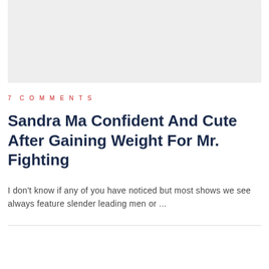[Figure (other): Gray placeholder image box at the top of the page]
7 COMMENTS
Sandra Ma Confident And Cute After Gaining Weight For Mr. Fighting
I don't know if any of you have noticed but most shows we see always feature slender leading men or ...